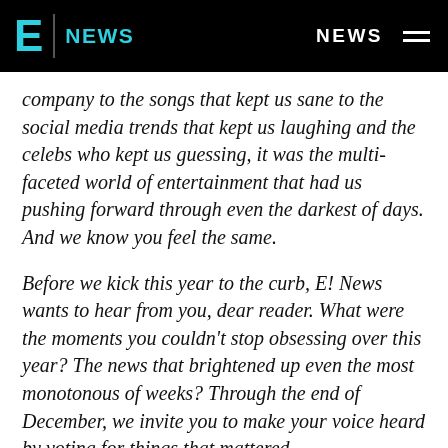E! NEWS — NEWS
company to the songs that kept us sane to the social media trends that kept us laughing and the celebs who kept us guessing, it was the multi-faceted world of entertainment that had us pushing forward through even the darkest of days. And we know you feel the same.
Before we kick this year to the curb, E! News wants to hear from you, dear reader. What were the moments you couldn't stop obsessing over this year? The news that brightened up even the most monotonous of weeks? Through the end of December, we invite you to make your voice heard by voting for things that mattered